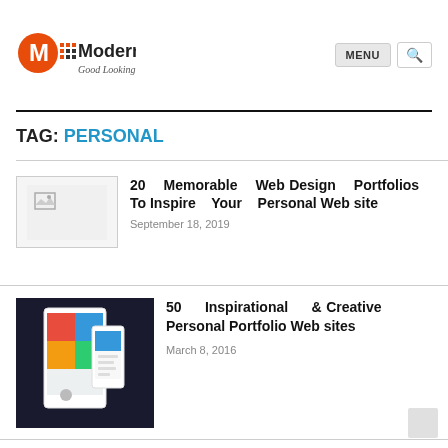ModernWebDesign — Good Looking | MENU | Search
TAG: PERSONAL
20 Memorable Web Design Portfolios To Inspire Your Personal Web site — September 18, 2019
50 Inspirational & Creative Personal Portfolio Web sites — March 8, 2016